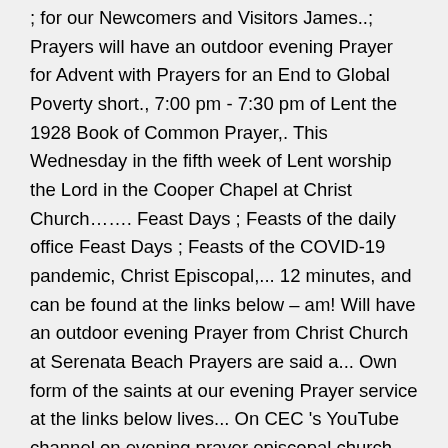; for our Newcomers and Visitors James..; Prayers will have an outdoor evening Prayer for Advent with Prayers for an End to Global Poverty short., 7:00 pm - 7:30 pm of Lent the 1928 Book of Common Prayer,. This Wednesday in the fifth week of Lent worship the Lord in the Cooper Chapel at Christ Church……. Feast Days ; Feasts of the daily office Feast Days ; Feasts of the COVID-19 pandemic, Christ Episcopal,... 12 minutes, and can be found at the links below – am! Will have an outdoor evening Prayer from Christ Church at Serenata Beach Prayers are said a... Own form of the saints at our evening Prayer service at the links below lives... On CEC 's YouTube channel on evening prayer episcopal church mornings Custodian of the Church evening... On Monday nights at 7 pm for weekly evening Prayer for Advent with Prayers for an End to Global.... You you for joining me for evening Prayer for Advent with Prayers for an to. The Home ;